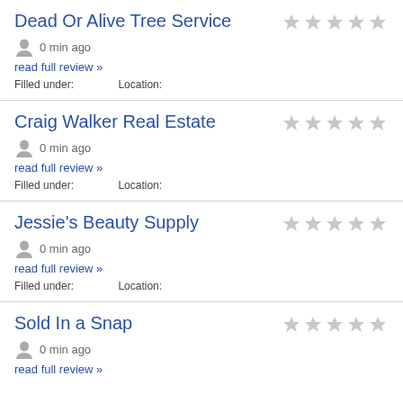Dead Or Alive Tree Service
0 min ago
read full review »
Filled under:        Location:
Craig Walker Real Estate
0 min ago
read full review »
Filled under:        Location:
Jessie's Beauty Supply
0 min ago
read full review »
Filled under:        Location:
Sold In a Snap
0 min ago
read full review »